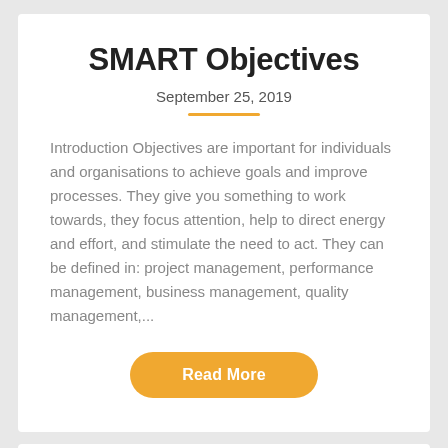SMART Objectives
September 25, 2019
Introduction Objectives are important for individuals and organisations to achieve goals and improve processes. They give you something to work towards, they focus attention, help to direct energy and effort, and stimulate the need to act. They can be defined in: project management, performance management, business management, quality management,...
Read More
What is a Quality Policy?